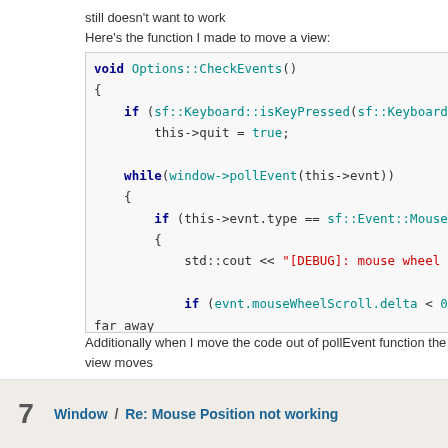still doesn't want to work
Here's the function I made to move a view:
[Figure (screenshot): Code block showing C++ function void Options::CheckEvents() with syntax highlighting. Contains if statement with sf::Keyboard::isKeyPressed, this->quit = true, while loop with window->pollEvent, if condition checking this->evnt.type == sf::Event::MouseWheelS, std::cout debug string, if condition with evnt.mouseWheelScroll.delta < 0, far away comment, std::cout View moved up debug, view->move with sf::Vector2f(0, -view_spee]
Additionally when I move the code out of pollEvent function the view moves
7  Window / Re: Mouse Position not working